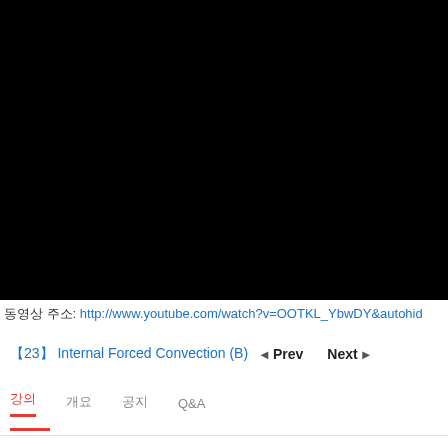[Figure (screenshot): Black video player area, video not loaded]
동영상 주소: http://www.youtube.com/watch?v=OOTKL_YbwDY&autohid
【23】 Internal Forced Convection (B) ◄ Prev    Next ►
강의  개요  공지  Q&A